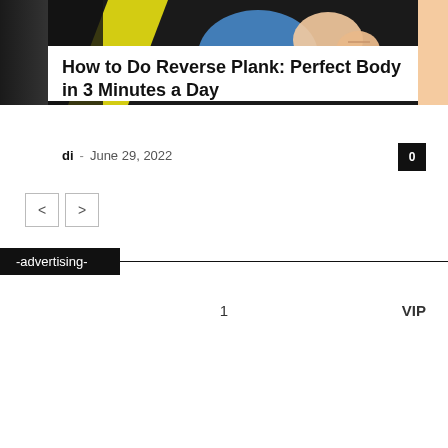[Figure (illustration): Comic/illustration style image showing a person doing exercise, partially visible. Dark background on left, cartoonish illustration in center-right with blue clothing and skin tones.]
How to Do Reverse Plank: Perfect Body in 3 Minutes a Day
di - June 29, 2022
0
-advertising-
1
VIP